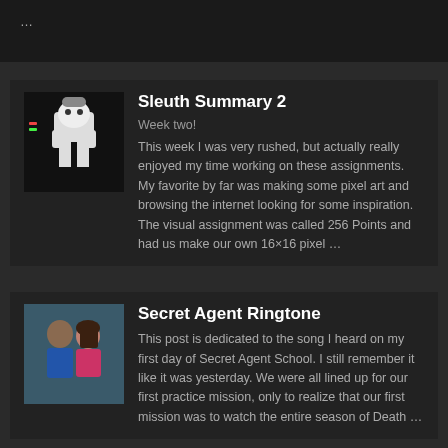…
Sleuth Summary 2
Week two!
This week I was very rushed, but actually really enjoyed my time working on these assignments. My favorite by far was making some pixel art and browsing the internet looking for some inspiration. The visual assignment was called 256 Points and had us make our own 16×16 pixel …
Secret Agent Ringtone
This post is dedicated to the song I heard on my first day of Secret Agent School. I still remember it like it was yesterday. We were all lined up for our first practice mission, only to realize that our first mission was to watch the entire season of Death …
Assignment Bank is pro ds106 (Digital S… Learn mo…